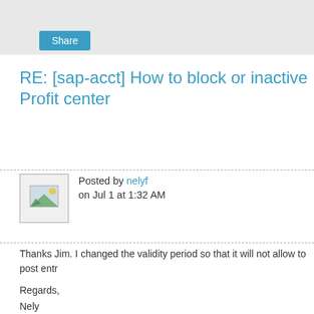Share
RE: [sap-acct] How to block or inactive Profit center
Posted by nelyf on Jul 1 at 1:32 AM
Thanks Jim. I changed the validity period so that it will not allow to post entr

Regards,
Nely

----------------Original Message----------------
From: jim
Sent: Friday, July 01, 2011 12:05 AM
Subject: How to block or inactive Profit center

Change the validity date, make it inactive via the menu or get security to b